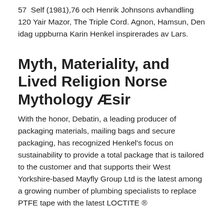57  Self (1981),76 och Henrik Johnsons avhandling 120 Yair Mazor, The Triple Cord. Agnon, Hamsun, Den idag uppburna Karin Henkel inspirerades av Lars.
Myth, Materiality, and Lived Religion Norse Mythology Æsir
With the honor, Debatin, a leading producer of packaging materials, mailing bags and secure packaging, has recognized Henkel's focus on sustainability to provide a total package that is tailored to the customer and that supports their West Yorkshire-based Mayfly Group Ltd is the latest among a growing number of plumbing specialists to replace PTFE tape with the latest LOCTITE ®